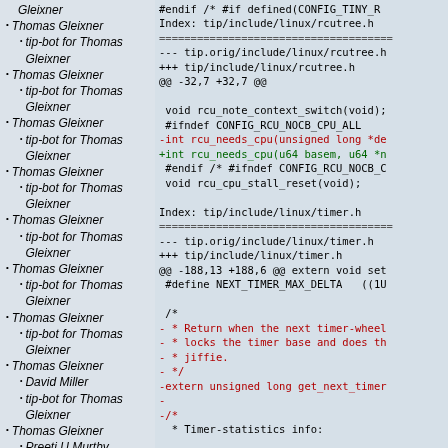Gleixner
Thomas Gleixner
tip-bot for Thomas Gleixner
Thomas Gleixner
tip-bot for Thomas Gleixner
Thomas Gleixner
tip-bot for Thomas Gleixner
Thomas Gleixner
tip-bot for Thomas Gleixner
Thomas Gleixner
tip-bot for Thomas Gleixner
Thomas Gleixner
tip-bot for Thomas Gleixner
Thomas Gleixner
tip-bot for Thomas Gleixner
Thomas Gleixner
David Miller
tip-bot for Thomas Gleixner
Thomas Gleixner
Preeti U Murthy
Thomas Gleixner
Preeti U Murthy
#endif /* #if defined(CONFIG_TINY_R
Index: tip/include/linux/rcutree.h
===================================
--- tip.orig/include/linux/rcutree.h
+++ tip/include/linux/rcutree.h
@@ -32,7 +32,7 @@

void rcu_note_context_switch(void);
 #ifndef CONFIG_RCU_NOCB_CPU_ALL
-int rcu_needs_cpu(unsigned long *de
+int rcu_needs_cpu(u64 basem, u64 *n
 #endif /* #ifndef CONFIG_RCU_NOCB_C
 void rcu_cpu_stall_reset(void);

Index: tip/include/linux/timer.h
===================================
--- tip.orig/include/linux/timer.h
+++ tip/include/linux/timer.h
@@ -188,13 +188,6 @@ extern void set
  #define NEXT_TIMER_MAX_DELTA   ((1U

 /*
 - * Return when the next timer-wheel
 - * locks the timer base and does th
 - * jiffie.
 - */
-extern unsigned long get_next_timer
-
-/*
   * Timer-statistics info: